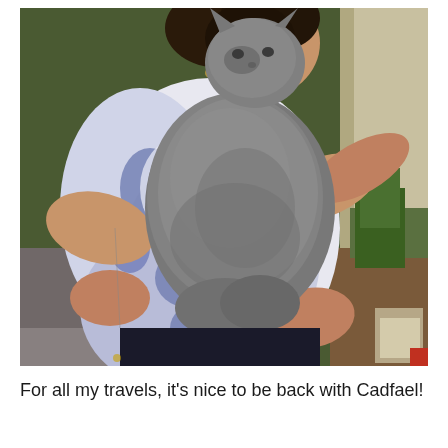[Figure (photo): A woman in a white and blue floral top hugging a large gray cat, standing indoors in front of a green wall with some shelving and decorations visible in the background.]
For all my travels, it's nice to be back with Cadfael!